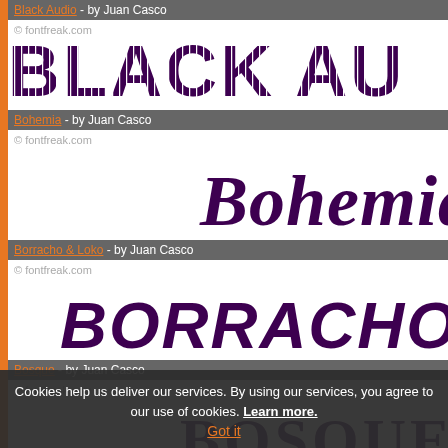Black Audio - by Juan Casco
[Figure (illustration): Large decorative text 'BLACK AU' rendered in a striped/dashed custom font called Black Audio, dark purple color on white background with fontfreak.com watermark]
Bohemia - by Juan Casco
[Figure (illustration): Large decorative text 'Bohemia' rendered in a handwritten/grunge custom font called Bohemia, dark purple color on white background with fontfreak.com watermark]
Borracho & Loko - by Juan Casco
[Figure (illustration): Large decorative text 'BORRACHO & L' rendered in a bold gothic custom font called Borracho & Loko, dark purple color on white background with fontfreak.com watermark]
Bosque - by Juan Casco
[Figure (illustration): Large decorative text in tree/branch style font called Bosque, dark purple color on white background with fontfreak.com watermark]
Cookies help us deliver our services. By using our services, you agree to our use of cookies. Learn more.
Got it